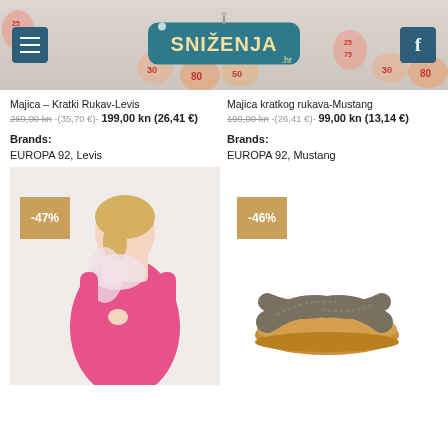[Figure (screenshot): E-commerce website header with SNIŽENJA (sales) banner, menu button, Facebook button, and discount percentage bubbles in background]
Majica – Kratki Rukav-Levis
269,00 kn -(35,70 €)- 199,00 kn (26,41 €)
Majica kratkog rukava-Mustang
199,00 kn -(26,41 €)- 99,00 kn (13,14 €)
Brands:
EUROPA 92, Levis
Brands:
EUROPA 92, Mustang
[Figure (photo): Woman wearing pink sleeveless dress with floral scarf, -47% discount badge]
[Figure (photo): Brown cross-strap flat sandal on white background, -46% discount badge]